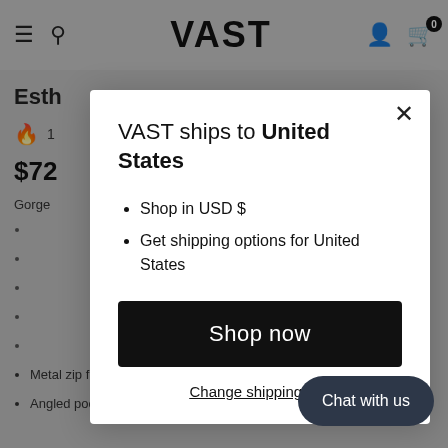[Figure (screenshot): Background e-commerce product page partially visible behind modal, showing VAST logo navigation bar, product title starting with 'Esth', price '$72', product description fragment, and bullet list items including 'Metal zip fly' and 'Angled pockets']
VAST ships to United States
Shop in USD $
Get shipping options for United States
Shop now
Change shipping country
Chat with us